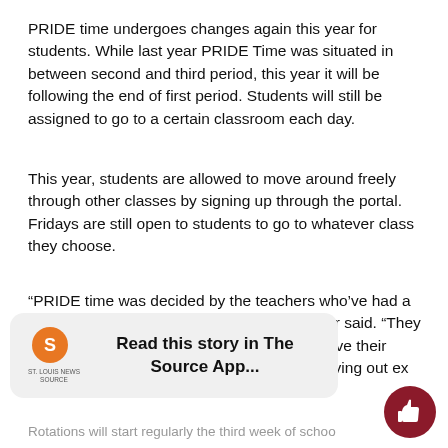PRIDE time undergoes changes again this year for students. While last year PRIDE Time was situated in between second and third period, this year it will be following the end of first period. Students will still be assigned to go to a certain classroom each day.
This year, students are allowed to move around freely through other classes by signing up through the portal. Fridays are still open to students to go to whatever class they choose.
“PRIDE time was decided by the teachers who’ve had a split lunch,” assistant principal Melanie Meyer said. “They expressed over time that they don’t like to have their classes divided up because it’s hard when giving out ex...
[Figure (other): App install overlay banner reading 'Read this story in The Source App...' with a Source logo and thumbs-up button]
Rotations will start regularly the third week of schoo...